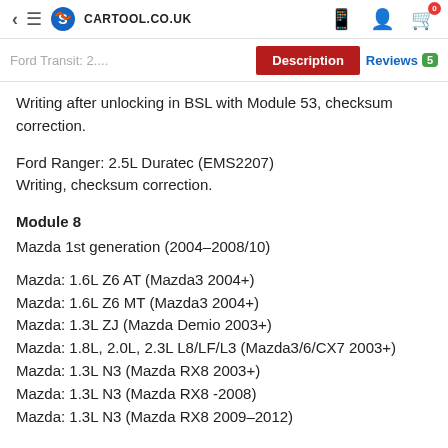cartool.co.uk — navigation header with Description and Reviews tabs
Writing after unlocking in BSL with Module 53, checksum correction.
Ford Ranger: 2.5L Duratec (EMS2207)
Writing, checksum correction.
Module 8
Mazda 1st generation (2004–2008/10)
Mazda: 1.6L Z6 AT (Mazda3 2004+)
Mazda: 1.6L Z6 MT (Mazda3 2004+)
Mazda: 1.3L ZJ (Mazda Demio 2003+)
Mazda: 1.8L, 2.0L, 2.3L L8/LF/L3 (Mazda3/6/CX7 2003+)
Mazda: 1.3L N3 (Mazda RX8 2003+)
Mazda: 1.3L N3 (Mazda RX8 -2008)
Mazda: 1.3L N3 (Mazda RX8 2009–2012)